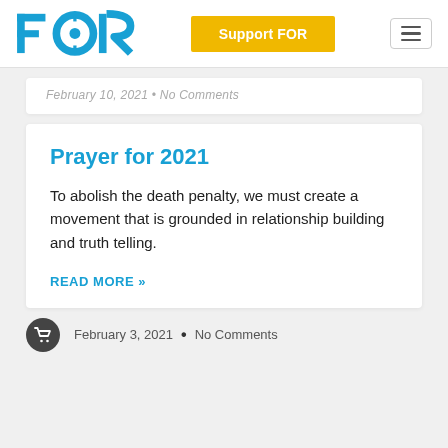FOR | Support FOR
February 10, 2021 • No Comments
Prayer for 2021
To abolish the death penalty, we must create a movement that is grounded in relationship building and truth telling.
READ MORE »
February 3, 2021 • No Comments